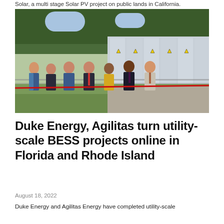Solar, a multi stage Solar PV project on public lands in California.
[Figure (photo): Ribbon-cutting ceremony at a utility-scale battery energy storage facility. Seven people in business attire standing outdoors in front of large grey battery storage containers behind a chain-link fence, cutting a red ribbon. Trees visible in background.]
Duke Energy, Agilitas turn utility-scale BESS projects online in Florida and Rhode Island
August 18, 2022
Duke Energy and Agilitas Energy have completed utility-scale battery energy storage system (BESS) deployments across the US